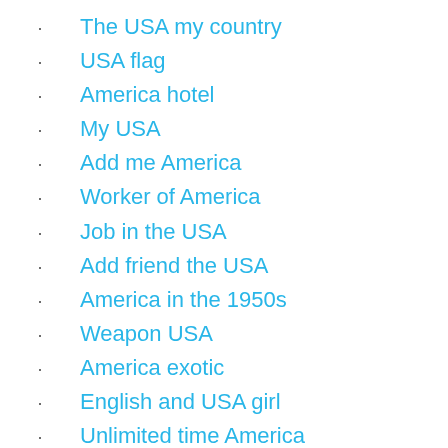The USA my country
USA flag
America hotel
My USA
Add me America
Worker of America
Job in the USA
Add friend the USA
America in the 1950s
Weapon USA
America exotic
English and USA girl
Unlimited time America
Bitcoin America
Dating group the USA
America beauty
Made in the USA